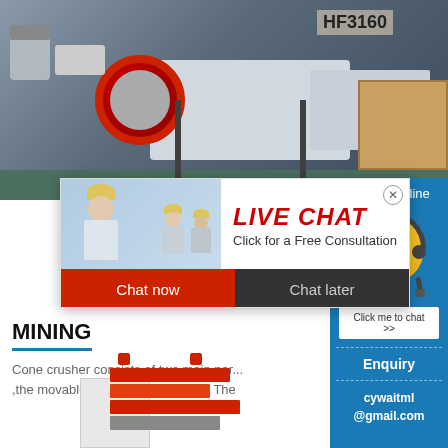[Figure (photo): Industrial cone crusher machinery in a factory setting, showing a large red belt wheel/pulley, white machine body, wooden crates, and factory floor]
[Figure (screenshot): Live chat popup overlay showing workers in yellow hard hats, LIVE CHAT heading in red italic text, 'Click for a Free Consultation' subtitle, and two buttons: 'Chat now' (red) and 'Chat later' (dark)]
[Figure (screenshot): Right sidebar with blue background showing '7 hours online', animated smiley face with headset, 'Click me to chat >>' button, 'Enquiry' label, and 'cywaitml@gmail.com' email address]
MINING
Cone crusher consists of two main parts, the movable cone and fixed cone. The
[Figure (photo): Bottom portion of industrial product image showing red/orange striped components and white panel sections of mining equipment]